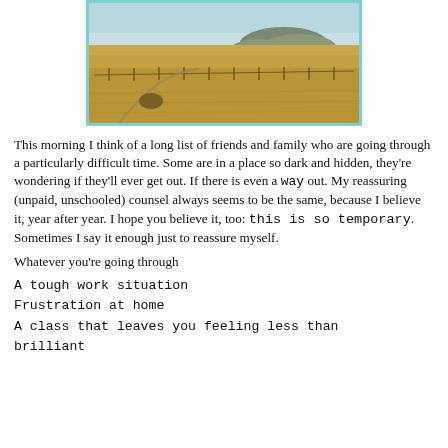[Figure (photo): Landscape photo of dry golden grassland with hills in the background under a light blue sky, enclosed in a light teal/cyan border.]
This morning I think of a long list of friends and family who are going through a particularly difficult time. Some are in a place so dark and hidden, they're wondering if they'll ever get out. If there is even a way out. My reassuring (unpaid, unschooled) counsel always seems to be the same, because I believe it, year after year. I hope you believe it, too: this is so temporary. Sometimes I say it enough just to reassure myself.
Whatever you're going through
A tough work situation
Frustration at home
A class that leaves you feeling less than brilliant